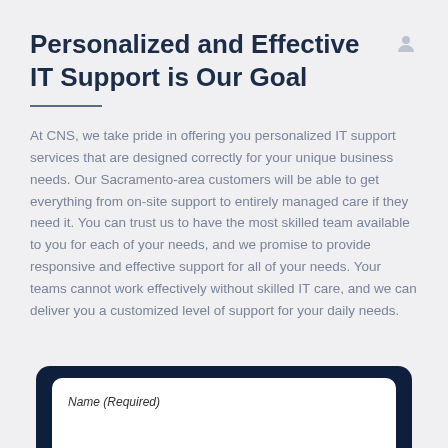Personalized and Effective IT Support is Our Goal
At CNS, we take pride in offering you personalized IT support services that are designed correctly for your unique business needs. Our Sacramento-area customers will be able to get everything from on-site support to entirely managed care if they need it. You can trust us to have the most skilled team available to you for each of your needs, and we promise to provide responsive and effective support for all of your needs. Your teams cannot work effectively without skilled IT care, and we can deliver you a customized level of support for your daily needs.
[Figure (screenshot): Partial view of a contact form card with dark navy background and white inner card, showing a 'Name (Required)' input field label at the bottom of the page.]